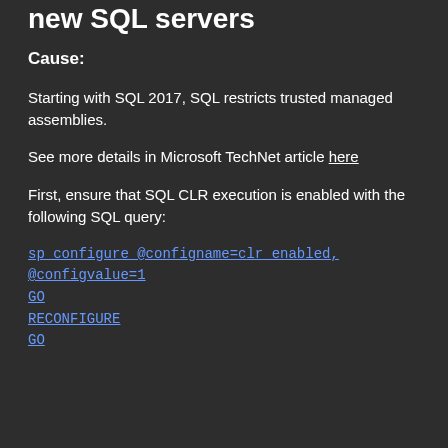new SQL servers
Cause:
Starting with SQL 2017, SQL restricts trusted managed assemblies.
See more details in Microsoft TechNet article here
First, ensure that SQL CLR execution is enabled with the following SQL query:
sp_configure @configname=clr_enabled,
@configvalue=1
GO
RECONFIGURE
GO